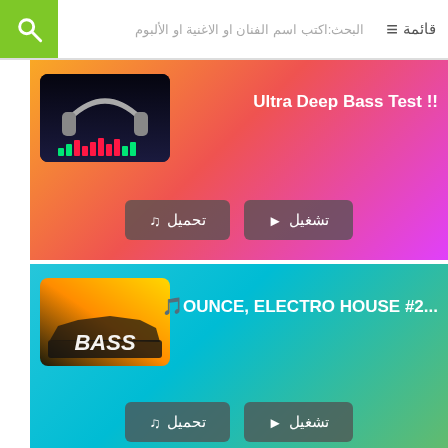البحث:اكتب اسم الفنان او الاغنية او الألبوم | قائمة
!! Ultra Deep Bass Test
تشغيل ▶ | تحميل ♪
...OUNCE, ELECTRO HOUSE #2🎵
تشغيل ▶ | تحميل ♪
...NCE, ELECTRO HOUSE 2020🎵